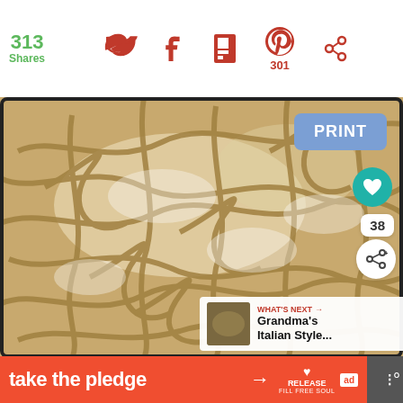313 Shares
[Figure (screenshot): Social media share bar with Twitter, Facebook, Flipboard, Pinterest (301), and other share icons on white background]
[Figure (photo): Close-up photo of fresh homemade pasta noodles dusted with flour on a baking tray, with a blue PRINT button overlay, teal heart button, share count of 38, and a 'What's Next' panel showing 'Grandma's Italian Style...']
[Figure (screenshot): Orange advertisement banner reading 'take the pledge' with an arrow, Release logo with heart, ad marker, and dark right panel with dots]